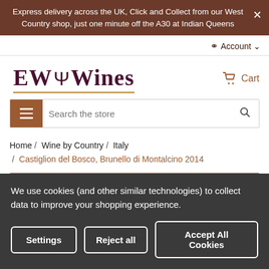Express delivery across the UK, Click and Collect from our West Country shop, just one minute off the A30 at Indian Queens
Account
[Figure (logo): EW Wines logo with trident symbol between EW and Wines, dark maroon serif font with gold underline]
Cart
Search the store
Home / Wine by Country / Italy / Castiglion del Bosco, Brunello di Montalcino 2014
We use cookies (and other similar technologies) to collect data to improve your shopping experience.
Settings
Reject all
Accept All Cookies